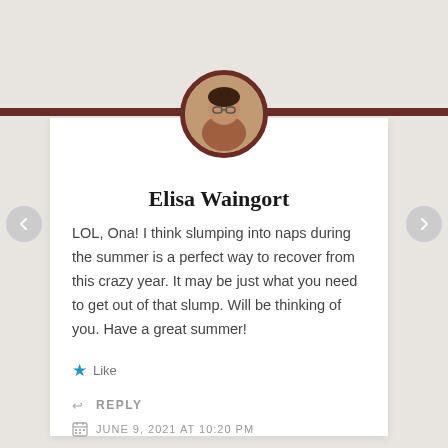[Figure (photo): Circular avatar photo of Elisa Waingort, a woman with glasses, with a dark brown border ring]
Elisa Waingort
LOL, Ona! I think slumping into naps during the summer is a perfect way to recover from this crazy year. It may be just what you need to get out of that slump. Will be thinking of you. Have a great summer!
Like
REPLY
JUNE 9, 2021 AT 10:20 PM